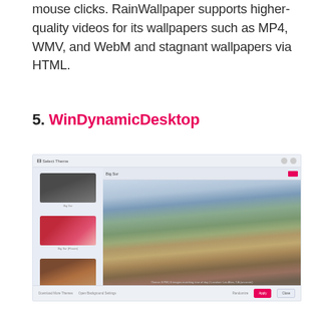mouse clicks. RainWallpaper supports higher-quality videos for its wallpapers such as MP4, WMV, and WebM and stagnant wallpapers via HTML.
5. WinDynamicDesktop
[Figure (screenshot): Screenshot of WinDynamicDesktop application showing a library of wallpapers in a panel on the left and a large landscape preview on the right]